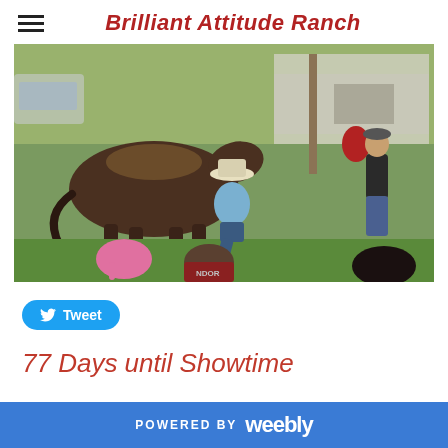Brilliant Attitude Ranch
[Figure (photo): A man in a cowboy hat kneeling on grass beside a brown saddled horse, speaking to a group of seated children and youth. Another young person stands in the background near ranch equipment and vehicles.]
Tweet
77 Days until Showtime
POWERED BY weebly